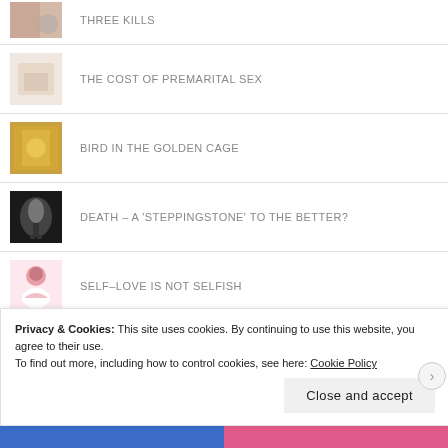THREE KILLS
THE COST OF PREMARITAL SEX
BIRD IN THE GOLDEN CAGE
DEATH – A 'STEPPINGSTONE' TO THE BETTER?
SELF–LOVE IS NOT SELFISH
SOMETHINGS AREN'T MEANT TO BE
Privacy & Cookies: This site uses cookies. By continuing to use this website, you agree to their use. To find out more, including how to control cookies, see here: Cookie Policy
Close and accept